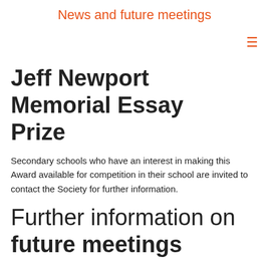News and future meetings
Jeff Newport Memorial Essay Prize
Secondary schools who have an interest in making this Award available for competition in their school are invited to contact the Society for further information.
Further information on future meetings